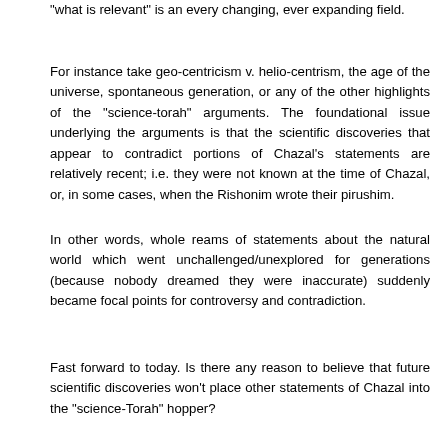"what is relevant" is an every changing, ever expanding field.
For instance take geo-centricism v. helio-centrism, the age of the universe, spontaneous generation, or any of the other highlights of the "science-torah" arguments. The foundational issue underlying the arguments is that the scientific discoveries that appear to contradict portions of Chazal's statements are relatively recent; i.e. they were not known at the time of Chazal, or, in some cases, when the Rishonim wrote their pirushim.
In other words, whole reams of statements about the natural world which went unchallenged/unexplored for generations (because nobody dreamed they were inaccurate) suddenly became focal points for controversy and contradiction.
Fast forward to today. Is there any reason to believe that future scientific discoveries won't place other statements of Chazal into the "science-Torah" hopper?